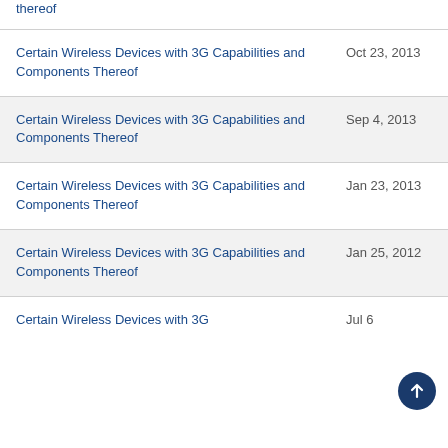thereof
Certain Wireless Devices with 3G Capabilities and Components Thereof	Oct 23, 2013
Certain Wireless Devices with 3G Capabilities and Components Thereof	Sep 4, 2013
Certain Wireless Devices with 3G Capabilities and Components Thereof	Jan 23, 2013
Certain Wireless Devices with 3G Capabilities and Components Thereof	Jan 25, 2012
Certain Wireless Devices with 3G	Jul 6